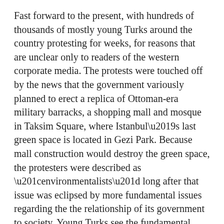Fast forward to the present, with hundreds of thousands of mostly young Turks around the country protesting for weeks, for reasons that are unclear only to readers of the western corporate media. The protests were touched off by the news that the government variously planned to erect a replica of Ottoman-era military barracks, a shopping mall and mosque in Taksim Square, where Istanbul’s last green space is located in Gezi Park. Because mall construction would destroy the green space, the protesters were described as “environmentalists” long after that issue was eclipsed by more fundamental issues regarding the the relationship of its government to society. Young Turks see the fundamental character of the nation threatened by the growing strength of the Islamist movement. These concerns are derided by the government and some western media as a desire to preserve the right to drink alcohol, but of course the real issues are much more significant.
Taksim Square is an iconic location for Turks, the scene